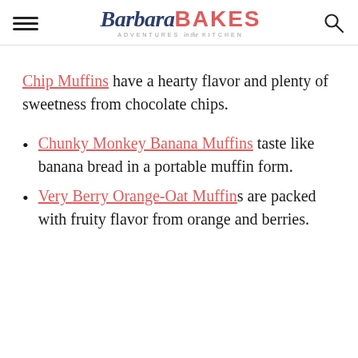Barbara BAKES — Adventures in the Kitchen
Chip Muffins have a hearty flavor and plenty of sweetness from chocolate chips.
Chunky Monkey Banana Muffins taste like banana bread in a portable muffin form.
Very Berry Orange-Oat Muffins are packed with fruity flavor from orange and berries.